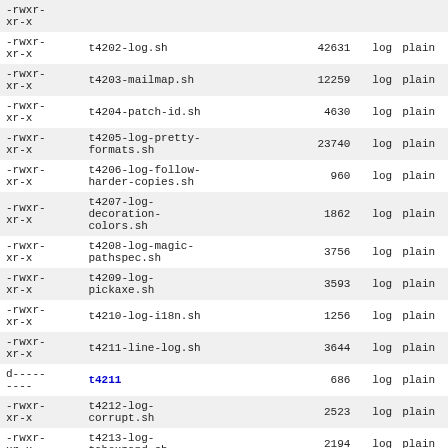| permissions | name | size | type | format |
| --- | --- | --- | --- | --- |
| -rwxr-
xr-x | (partial top row) |  | log | plain |
| -rwxr-
xr-x | t4202-log.sh | 42631 | log | plain |
| -rwxr-
xr-x | t4203-mailmap.sh | 12259 | log | plain |
| -rwxr-
xr-x | t4204-patch-id.sh | 4630 | log | plain |
| -rwxr-
xr-x | t4205-log-pretty-formats.sh | 23740 | log | plain |
| -rwxr-
xr-x | t4206-log-follow-harder-copies.sh | 960 | log | plain |
| -rwxr-
xr-x | t4207-log-decoration-colors.sh | 1862 | log | plain |
| -rwxr-
xr-x | t4208-log-magic-pathspec.sh | 3756 | log | plain |
| -rwxr-
xr-x | t4209-log-pickaxe.sh | 3593 | log | plain |
| -rwxr-
xr-x | t4210-log-i18n.sh | 1256 | log | plain |
| -rwxr-
xr-x | t4211-line-log.sh | 3644 | log | plain |
| d--------- | t4211 | 686 | log | plain |
| -rwxr-
xr-x | t4212-log-corrupt.sh | 2523 | log | plain |
| -rwxr-
xr-x | t4213-log-tabexpand.sh | 2194 | log | plain |